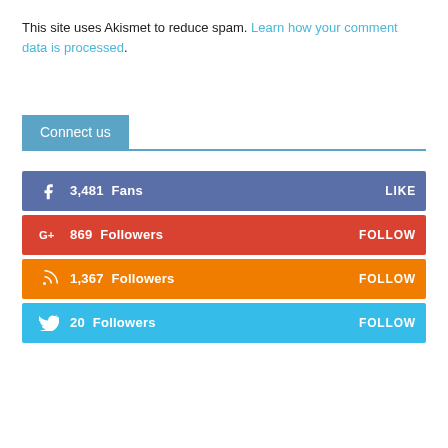This site uses Akismet to reduce spam. Learn how your comment data is processed.
Connect us
3,481  Fans   LIKE  (Facebook)
869  Followers   FOLLOW  (Google+)
1,367  Followers   FOLLOW  (RSS)
20  Followers   FOLLOW  (Twitter)